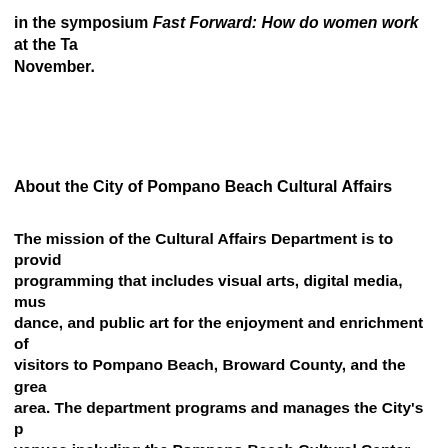in the symposium Fast Forward: How do women work at the Ta November.
About the City of Pompano Beach Cultural Affairs
The mission of the Cultural Affairs Department is to provid programming that includes visual arts, digital media, mus dance, and public art for the enjoyment and enrichment of visitors to Pompano Beach, Broward County, and the grea area. The department programs and manages the City's p venues including the Pompano Beach Cultural Center, His Arts, Bailey Contemporary Arts, Pompano Beach Amphith Blanche Ely House. The department also oversees the Cit Program and the prestigious National Endowment for the awarded to the Pompano Beach Crossroads place-making